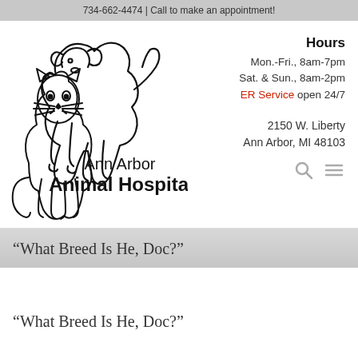734-662-4474 | Call to make an appointment!
[Figure (logo): Ann Arbor Animal Hospital logo with outline drawings of a dog and cat, and the text 'Ann Arbor Animal Hospital']
Hours
Mon.-Fri., 8am-7pm
Sat. & Sun., 8am-2pm
ER Service open 24/7

2150 W. Liberty
Ann Arbor, MI 48103
“What Breed Is He, Doc?”
“What Breed Is He, Doc?”